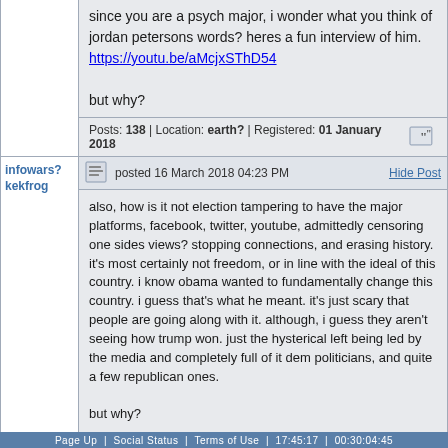since you are a psych major, i wonder what you think of jordan petersons words? heres a fun interview of him.
https://youtu.be/aMcjxSThD54

but why?
Posts: 138 | Location: earth? | Registered: 01 January 2018
infowars? kekfrog
posted 16 March 2018 04:23 PM
Hide Post
also, how is it not election tampering to have the major platforms, facebook, twitter, youtube, admittedly censoring one sides views? stopping connections, and erasing history. it's most certainly not freedom, or in line with the ideal of this country. i know obama wanted to fundamentally change this country. i guess that's what he meant. it's just scary that people are going along with it. although, i guess they aren't seeing how trump won. just the hysterical left being led by the media and completely full of it dem politicians, and quite a few republican ones.

but why?
Posts: 138 | Location: earth? | Registered: 01 January 2018